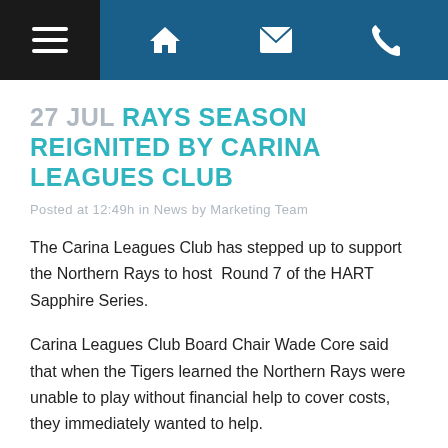Navigation bar with hamburger menu, home icon, email icon, phone icon
27 JUL RAYS SEASON REIGNITED BY CARINA LEAGUES CLUB
Posted at 12:49h in News by Marketing Team
The Carina Leagues Club has stepped up to support the Northern Rays to host  Round 7 of the HART Sapphire Series.
Carina Leagues Club Board Chair Wade Core said that when the Tigers learned the Northern Rays were unable to play without financial help to cover costs, they immediately wanted to help.